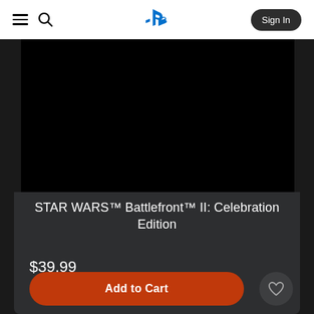PlayStation Store navigation bar with hamburger menu, search icon, PlayStation logo, and Sign In button
[Figure (screenshot): Black game cover image for STAR WARS Battlefront II: Celebration Edition]
STAR WARS™ Battlefront™ II: Celebration Edition
$39.99
Add to Cart